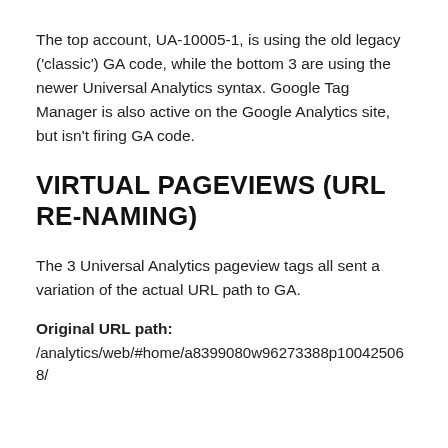The top account, UA-10005-1, is using the old legacy ('classic') GA code, while the bottom 3 are using the newer Universal Analytics syntax. Google Tag Manager is also active on the Google Analytics site, but isn't firing GA code.
VIRTUAL PAGEVIEWS (URL RE-NAMING)
The 3 Universal Analytics pageview tags all sent a variation of the actual URL path to GA.
Original URL path:
/analytics/web/#home/a8399080w96273388p100425068/